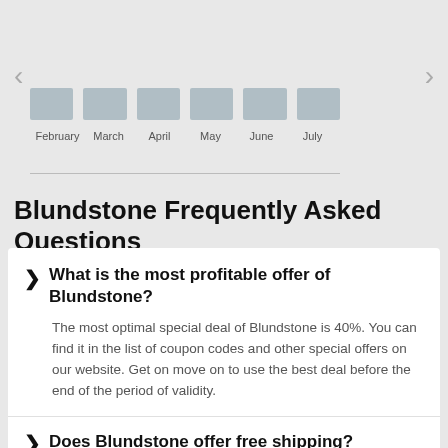[Figure (other): Navigation arrows (left and right chevrons) for a carousel or slider, with month tab indicators (February through July) shown as light blue-grey rectangles]
Blundstone Frequently Asked Questions
What is the most profitable offer of Blundstone? The most optimal special deal of Blundstone is 40%. You can find it in the list of coupon codes and other special offers on our website. Get on move on to use the best deal before the end of the period of validity.
Does Blundstone offer free shipping?